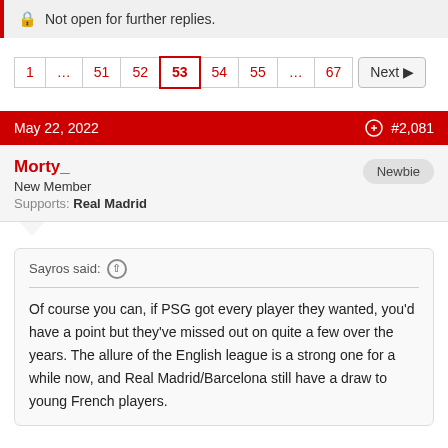Not open for further replies.
1 … 51 52 53 54 55 … 67 Next ▶
May 22, 2022  #2,081
Morty_
New Member
Supports: Real Madrid
Sayros said: ↑

Of course you can, if PSG got every player they wanted, you'd have a point but they've missed out on quite a few over the years. The allure of the English league is a strong one for a while now, and Real Madrid/Barcelona still have a draw to young French players.